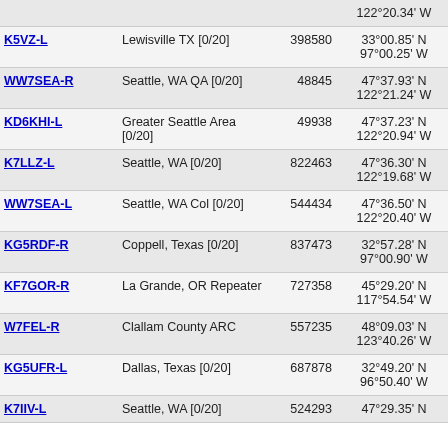| Callsign | Location | Node | Coordinates | Grid | Freq |
| --- | --- | --- | --- | --- | --- |
|  |  |  | 122°20.34' W |  |  |
| K5VZ-L | Lewisville TX [0/20] | 398580 | 33°00.85' N 97°00.25' W | EM13la | 4621. |
| WW7SEA-R | Seattle, WA QA [0/20] | 48845 | 47°37.93' N 122°21.24' W | CN87tp | 4622. |
| KD6KHI-L | Greater Seattle Area [0/20] | 49938 | 47°37.23' N 122°20.94' W | CN87to | 4622. |
| K7LLZ-L | Seattle, WA [0/20] | 822463 | 47°36.30' N 122°19.68' W | CN87uo | 4623. |
| WW7SEA-L | Seattle, WA Col [0/20] | 544434 | 47°36.50' N 122°20.40' W | CN87to | 4623. |
| KG5RDF-R | Coppell, Texas [0/20] | 837473 | 32°57.28' N 97°00.90' W | EM12lw | 4625. |
| KF7GOR-R | La Grande, OR Repeater | 727358 | 45°29.20' N 117°54.54' W | DN15bl | 4625. |
| W7FEL-R | Clallam County ARC | 557235 | 48°09.03' N 123°40.26' W | CN88dd | 4625. |
| KG5UFR-L | Dallas, Texas [0/20] | 687878 | 32°49.20' N 96°50.40' W | EM12nt | 4626. |
| K7IIV-L | Seattle, WA [0/20] | 524293 | 47°29.35' N | CN87vl | 4627. |